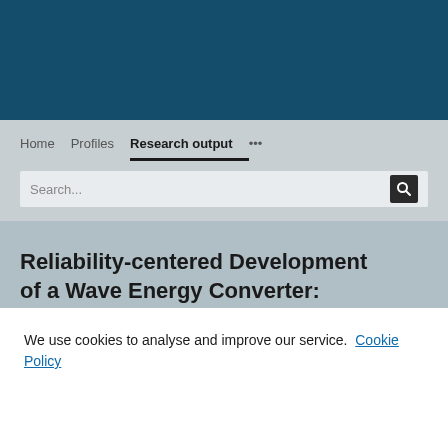[Figure (screenshot): Dark blue header banner of a university research portal website]
Home   Profiles   Research output   ...
Search...
Reliability-centered Development of a Wave Energy Converter:
We use cookies to analyse and improve our service. Cookie Policy